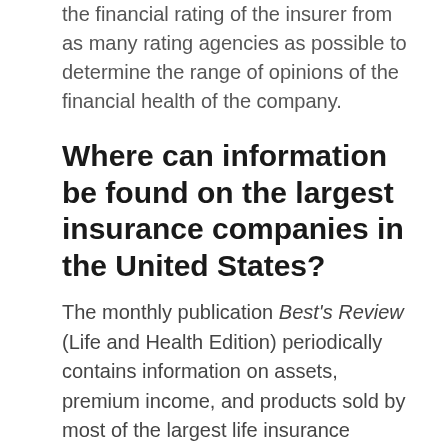the financial rating of the insurer from as many rating agencies as possible to determine the range of opinions of the financial health of the company.
Where can information be found on the largest insurance companies in the United States?
The monthly publication Best's Review (Life and Health Edition) periodically contains information on assets, premium income, and products sold by most of the largest life insurance companies operating in the U.S. The sister publication, Best's Review (Property and Casualty Edition) provides certain statistical information on large property-casualty